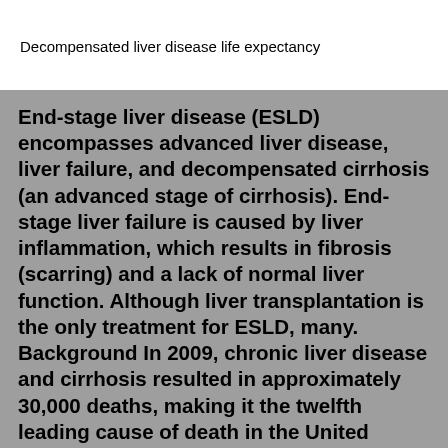Decompensated liver disease life expectancy
End-stage liver disease (ESLD) encompasses advanced liver disease, liver failure, and decompensated cirrhosis (an advanced stage of cirrhosis). End-stage liver failure is caused by liver inflammation, which results in fibrosis (scarring) and a lack of normal liver function. Although liver transplantation is the only treatment for ESLD, many. Background In 2009, chronic liver disease and cirrhosis resulted in approximately 30,000 deaths, making it the twelfth leading cause of death in the United States. Patients with compensated chronic liver failure (without ascites, variceal bleeding, encephalopathy, or jaundice) have a median survival of 12 years. After decompensation, median survival drops to ~ 2 years. This. The life expectancy during this stage is said to be about 6 months after liver failure. During liver disease, blood is blocked by scar